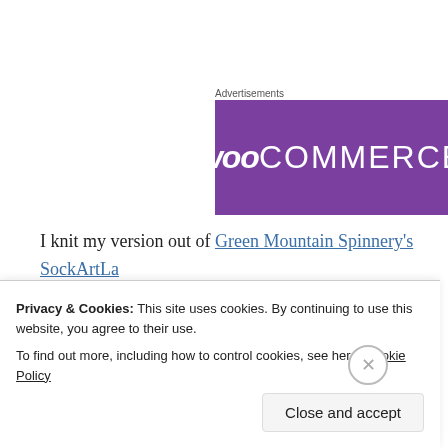Advertisements
[Figure (logo): WooCommerce logo on purple background]
I knit my version out of Green Mountain Spinnery's SockArtLa… It's a fingering weigh yarn–so the garment does take a bit of tim… comes in 400 yard skeins. I used about 3 1/4 skeins for this swe… sleeves, you could get away with 3 skeins; if you wanted full len… want all 4 skeins! I knit a size 36" on 2.75mm needles and it's ju… 34" bust. You can check out all of the details on my Ravelry pro…
Privacy & Cookies: This site uses cookies. By continuing to use this website, you agree to their use.
To find out more, including how to control cookies, see here: Cookie Policy
Close and accept